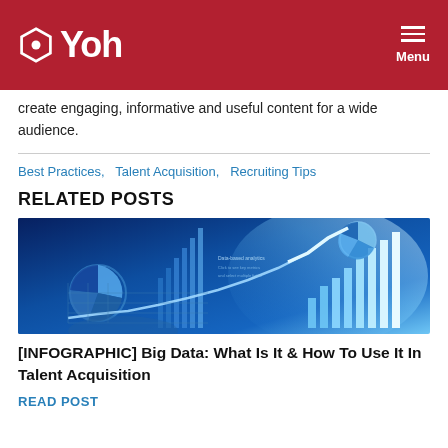Yoh | Menu
create engaging, informative and useful content for a wide audience.
Best Practices, Talent Acquisition, Recruiting Tips
RELATED POSTS
[Figure (photo): Blue digital analytics dashboard with charts, graphs, pie charts, bar charts, and a rising line graph, representing Big Data visualization on a dark blue background with a hand holding glowing blue light.]
[INFOGRAPHIC] Big Data: What Is It & How To Use It In Talent Acquisition
READ POST